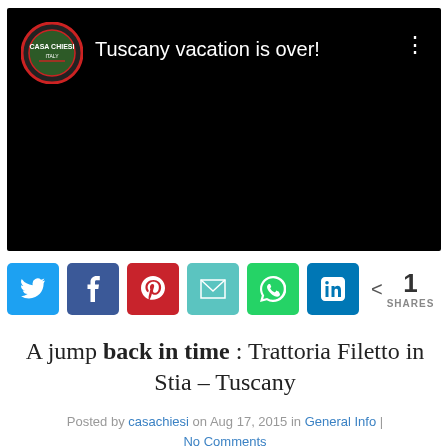[Figure (screenshot): YouTube video thumbnail with black background, Casa Chiesi Italy logo (circular, red border, green/white design), title 'Tuscany vacation is over!' in white text, and three-dot menu icon]
[Figure (infographic): Social share buttons row: Twitter (blue), Facebook (blue), Pinterest (red), Email (teal), WhatsApp (green), LinkedIn (blue), share icon with count '1 SHARES']
A jump back in time : Trattoria Filetto in Stia – Tuscany
Posted by casachiesi on Aug 17, 2015 in General Info | No Comments